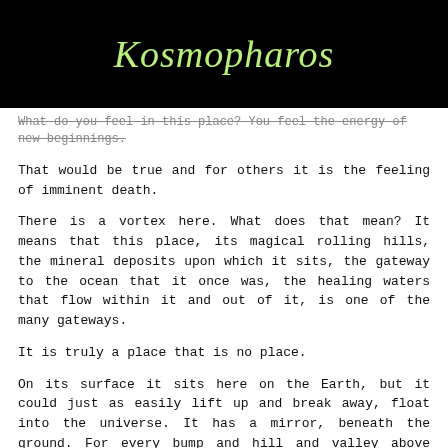Kosmopharos
What do you feel in this place?  You feel the energy of new beginnings.
That would be true and for others it is the feeling of imminent death.
There is a vortex here.  What does that mean?  It means that this place, its magical rolling hills,  the mineral deposits upon which it  sits,  the gateway to the ocean that it once was, the healing waters that flow within it and out of it, is one of the many gateways.
It is truly a place that is no place.
On its surface it sits here on the Earth, but it could just as easily  lift up and break away, float into the universe. It has a mirror,  beneath the ground.  For every  bump and hill and valley above ground, there is an <!--more-->exact opposite connected to it beneath ground.   It is aerodynamically shaped,  like a ship.
But it is the vortex that connects it to other  places in the universe and other places on this planet.  It is a portal, not created by man, but existing